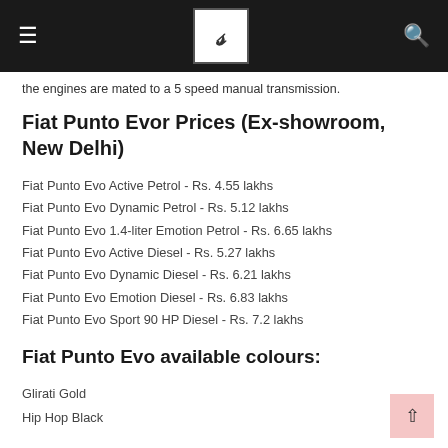≡  [logo]  🔍
the engines are mated to a 5 speed manual transmission.
Fiat Punto Evor Prices (Ex-showroom, New Delhi)
Fiat Punto Evo Active Petrol - Rs. 4.55 lakhs
Fiat Punto Evo Dynamic Petrol - Rs. 5.12 lakhs
Fiat Punto Evo 1.4-liter Emotion Petrol - Rs. 6.65 lakhs
Fiat Punto Evo Active Diesel - Rs. 5.27 lakhs
Fiat Punto Evo Dynamic Diesel - Rs. 6.21 lakhs
Fiat Punto Evo Emotion Diesel - Rs. 6.83 lakhs
Fiat Punto Evo Sport 90 HP Diesel - Rs. 7.2 lakhs
Fiat Punto Evo available colours:
Glirati Gold
Hip Hop Black